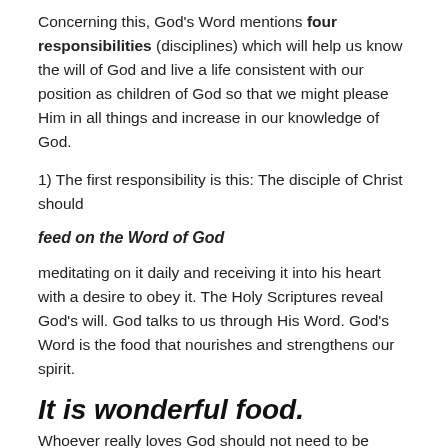Concerning this, God's Word mentions four responsibilities (disciplines) which will help us know the will of God and live a life consistent with our position as children of God so that we might please Him in all things and increase in our knowledge of God.
1) The first responsibility is this: The disciple of Christ should
feed on the Word of God
meditating on it daily and receiving it into his heart with a desire to obey it. The Holy Scriptures reveal God's will. God talks to us through His Word. God's Word is the food that nourishes and strengthens our spirit.
It is wonderful food.
Whoever really loves God should not need to be urged to